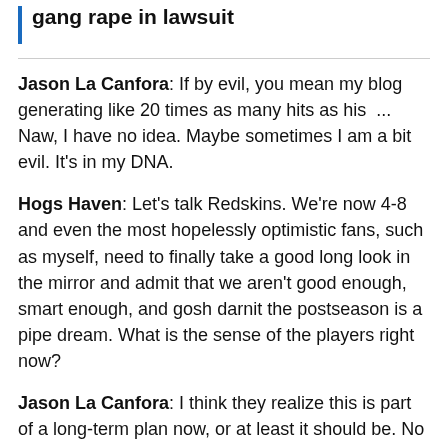gang rape in lawsuit
Jason La Canfora: If by evil, you mean my blog generating like 20 times as many hits as his  ... Naw, I have no idea. Maybe sometimes I am a bit evil. It's in my DNA.
Hogs Haven: Let's talk Redskins. We're now 4-8 and even the most hopelessly optimistic fans, such as myself, need to finally take a good long look in the mirror and admit that we aren't good enough, smart enough, and gosh darnit the postseason is a pipe dream. What is the sense of the players right now?
Jason La Canfora: I think they realize this is part of a long-term plan now, or at least it should be. No one is